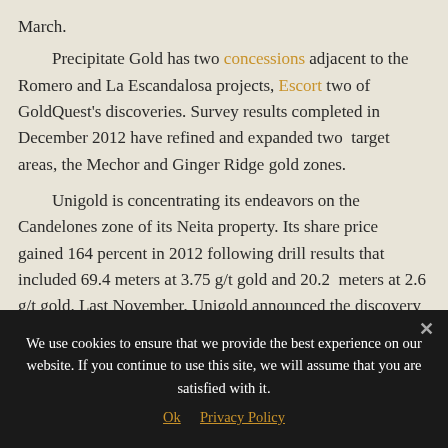March.

Precipitate Gold has two concessions adjacent to the Romero and La Escandalosa projects, Escort two of GoldQuest's discoveries. Survey results completed in December 2012 have refined and expanded two target areas, the Mechor and Ginger Ridge gold zones.
  Unigold is concentrating its endeavors on the Candelones zone of its Neita property. Its share price gained 164 percent in 2012 following drill results that included 69.4 meters at 3.75 g/t gold and 20.2 meters at 2.6 g/t gold. Last November, Unigold announced the discovery of a new area of mineralization on the Neita property.
  GoldQuest was the darling of the junior gold mining
We use cookies to ensure that we provide the best experience on our website. If you continue to use this site, we will assume that you are satisfied with it.
Ok   Privacy Policy